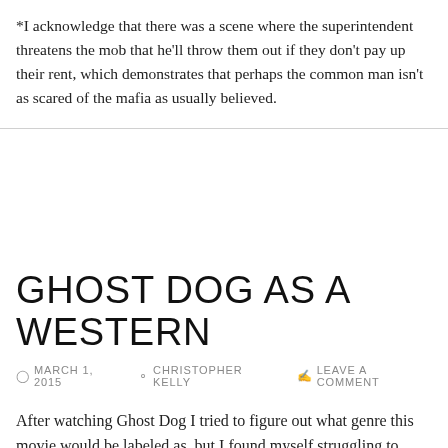*I acknowledge that there was a scene where the superintendent threatens the mob that he'll throw them out if they don't pay up their rent, which demonstrates that perhaps the common man isn't as scared of the mafia as usually believed.
GHOST DOG AS A WESTERN
MARCH 1, 2015  CHRISTOPHER KELLY  LEAVE A COMMENT
After watching Ghost Dog I tried to figure out what genre this movie would be labeled as, but I found myself struggling to identify the genre of the film simply because it drew on so many disparate forms of film making. On the surface level it